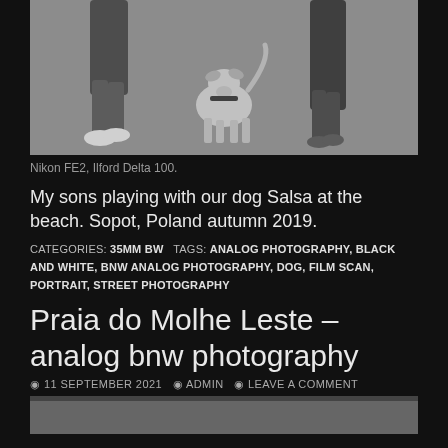[Figure (photo): Black and white photo showing legs of two people and a dog (Salsa) on a sandy beach, partial crop of upper portion]
Nikon FE2, Ilford Delta 100.
My sons playing with our dog Salsa at the beach. Sopot, Poland autumn 2019.
CATEGORIES: 35MM BW   TAGS: ANALOG PHOTOGRAPHY, BLACK AND WHITE, BNW ANALOG PHOTOGRAPHY, DOG, FILM SCAN, PORTRAIT, STREET PHOTOGRAPHY
Praia do Molhe Leste – analog bnw photography
11 SEPTEMBER 2021  ADMIN  LEAVE A COMMENT
[Figure (photo): Black and white photo, partial view at bottom of page, content not fully visible]